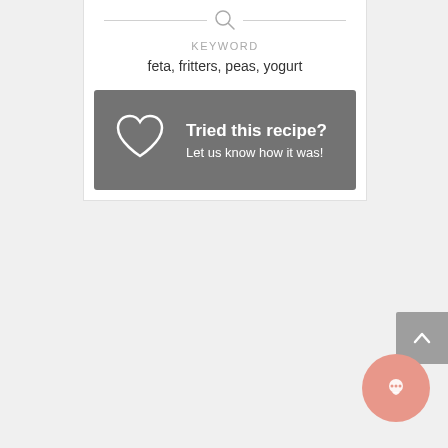KEYWORD
feta, fritters, peas, yogurt
[Figure (screenshot): Dark grey banner with heart icon and text 'Tried this recipe? Let us know how it was!']
[Figure (other): Grey scroll-to-top button with upward chevron arrow, partially visible at right edge]
[Figure (other): Salmon/pink circular chat bubble button at bottom right]